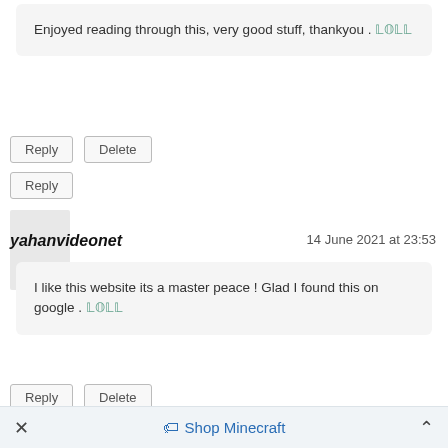Enjoyed reading through this, very good stuff, thankyou . 𝕃𝕆𝕃𝕃
Reply
Delete
Reply
yahanvideonet
14 June 2021 at 23:53
I like this website its a master peace ! Glad I found this on google . 𝕃𝕆𝕃𝕃
Reply
Delete
× Shop Minecraft ^